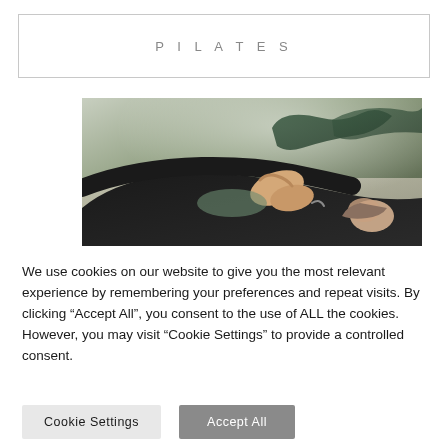PILATES
[Figure (photo): People doing pilates exercises on mats, lying on their backs with legs raised, in a bright studio setting. Foreground shows hands clasped around a knee.]
We use cookies on our website to give you the most relevant experience by remembering your preferences and repeat visits. By clicking “Accept All”, you consent to the use of ALL the cookies. However, you may visit “Cookie Settings” to provide a controlled consent.
Cookie Settings
Accept All